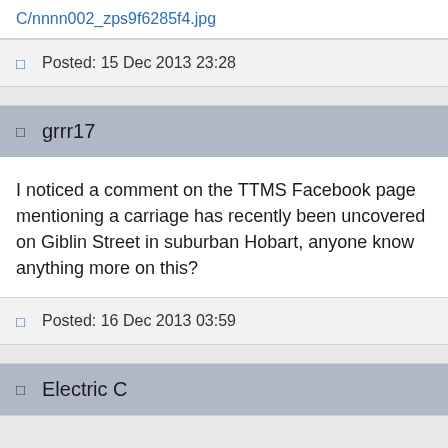C/nnnn002_zps9f6285f4.jpg
Posted: 15 Dec 2013 23:28
grrr17
I noticed a comment on the TTMS Facebook page mentioning a carriage has recently been uncovered on Giblin Street in suburban Hobart, anyone know anything more on this?
Posted: 16 Dec 2013 03:59
Electric C